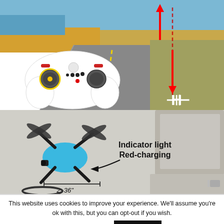[Figure (photo): Top half shows a drone controller (white gamepad) overlaid on a road/landscape background with red directional arrows and a dashed line indicating drone flight path, with an H landing pad marker on the road.]
[Figure (photo): Bottom half shows a small foldable blue drone with a 2.36 inch measurement annotation and text 'Indicator light Red-charging' with a curved arrow, alongside a laptop/device in the background.]
This website uses cookies to improve your experience. We'll assume you're ok with this, but you can opt-out if you wish.
Cookie settings
ACCEPT